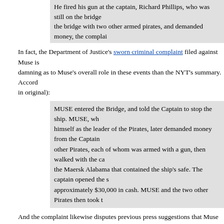He fired his gun at the captain, Richard Phillips, who was still on the bridge the bridge with two other armed pirates, and demanded money, the complai...
In fact, the Department of Justice's sworn criminal complaint filed against Muse is damning as to Muse's overall role in these events than the NYT's summary. Accord in original):
MUSE entered the Bridge, and told the Captain to stop the ship. MUSE, wh himself as the leader of the Pirates, later demanded money from the Captain other Pirates, each of whom was armed with a gun, then walked with the ca the Maersk Alabama that contained the ship's safe. The captain opened the s approximately $30,000 in cash. MUSE and the two other Pirates then took t
And the complaint likewise disputes previous press suggestions that Muse had "effe boarding the USS Bainbridge before Navy SEAL snipers shot and killed his co-con
On April 12, 2009, MUSE requested and was permitted to board the USS B other three Pirates continued to hold the Captain on the Life Boat. On the U MUSE continued to demand for himself and the other Pirates safe passage exchange for the Captain's release. In addition, MUSE received medical tre
Muse wasn't surrendering, in other words, and hadn't "withdrawn from the conspira continuing to convey threats that his co-conspirators would kill Captain Phillips un including Muse, were released and guaranteed their continued freedom.
*******